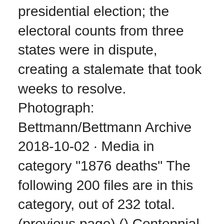presidential election; the electoral counts from three states were in dispute, creating a stalemate that took weeks to resolve. Photograph: Bettmann/Bettmann Archive 2018-10-02 · Media in category "1876 deaths" The following 200 files are in this category, out of 232 total. (previous page) () Centennial Newspaper Exhibition, 1876 : a complete list of American newspapers, a statement of the industries, characteristics, population and location of towns in which they are published, also, a descriptive account of some of the great newspapers of the day Media in category "Fashion in 1876" The following 95 files are in this category, out of 95 total. "Queen Bess" MET 50.105.35 back bw.jpeg 2,003 × 2,817; 277 KB 1876 naar onderwerp: Lijst van landen: Sport (categorie) Juliaanse kalender van 1876: Gregoriaanse